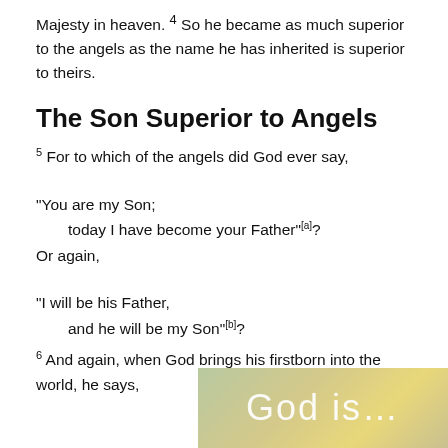Majesty in heaven. 4 So he became as much superior to the angels as the name he has inherited is superior to theirs.
The Son Superior to Angels
5 For to which of the angels did God ever say,
“You are my Son;
    today I have become your Father”[a]?
Or again,
“I will be his Father,
    and he will be my Son”[b]?
6 And again, when God brings his firstborn into the world, he says,
[Figure (photo): Partial photo with text overlay reading 'God is...' on a warm golden-green background]